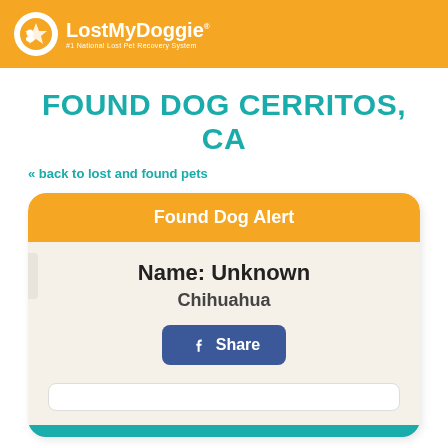LostMyDoggie #1 National Lost Pet Recovery System
FOUND DOG CERRITOS, CA
<< back to lost and found pets
Found Dog Alert
Name: Unknown
Chihuahua
Share
Pet Details